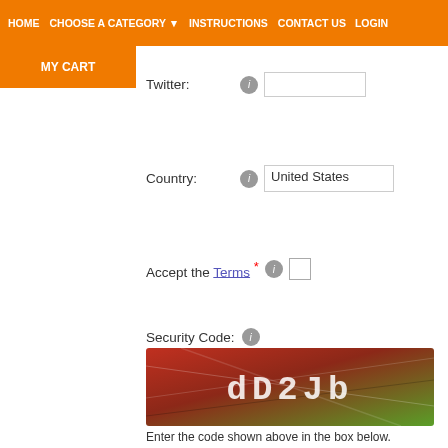HOME  CHOOSE A CATEGORY ▼  INSTRUCTIONS  CONTACT US  LOGIN
MY CART
Twitter:
Country:
Accept the Terms *
Security Code:
[Figure (other): CAPTCHA image showing the text 'dD2Jb' on a red-green gradient background]
Enter the code shown above in the box below.